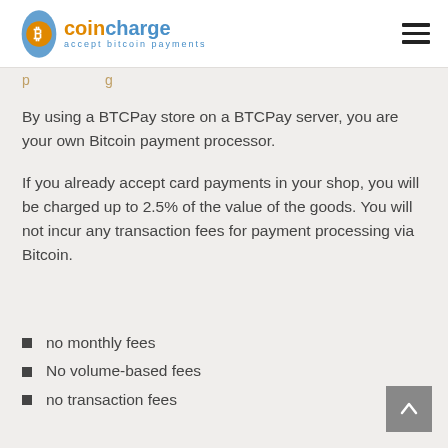coincharge — accept bitcoin payments
By using a BTCPay store on a BTCPay server, you are your own Bitcoin payment processor.
If you already accept card payments in your shop, you will be charged up to 2.5% of the value of the goods. You will not incur any transaction fees for payment processing via Bitcoin.
no monthly fees
No volume-based fees
no transaction fees